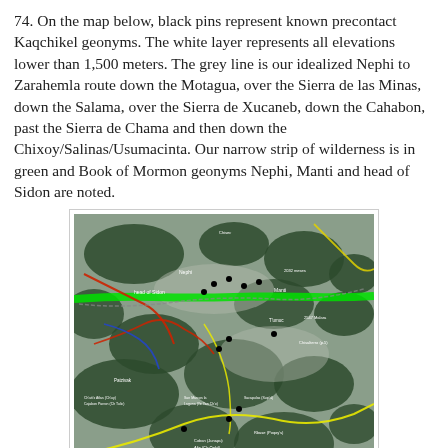74. On the map below, black pins represent known precontact Kaqchikel geonyms. The white layer represents all elevations lower than 1,500 meters. The grey line is our idealized Nephi to Zarahemla route down the Motagua, over the Sierra de las Minas, down the Salama, over the Sierra de Xucaneb, down the Cahabon, past the Sierra de Chama and then down the Chixoy/Salinas/Usumacinta. Our narrow strip of wilderness is in green and Book of Mormon geonyms Nephi, Manti and head of Sidon are noted.
[Figure (map): Satellite map showing the Kaqchikel region with colored overlays: green strip representing wilderness, yellow routes, red and blue river lines, black pins for known precontact Kaqchikel geonyms, and various place name labels. Google Maps watermark visible in lower right.]
Kaqchikel and Proposed Book of Mormon Worlds
The known Kaqchikel world and our correlation for the